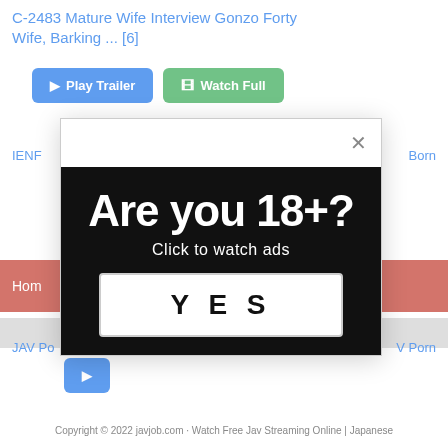C-2483 Mature Wife Interview Gonzo Forty Wife, Barking ... [6]
▶ Play Trailer  🎞 Watch Full
IENF  Born
Home
JAV Po  V Porn
[Figure (screenshot): Age verification modal popup with black background. Large bold white text reading 'Are you 18+?' with subtext 'Click to watch ads' and a white YES button. Modal has a close (×) button in the header.]
Copyright © 2022 javjob.com · Watch Free Jav Streaming Online | Japanese